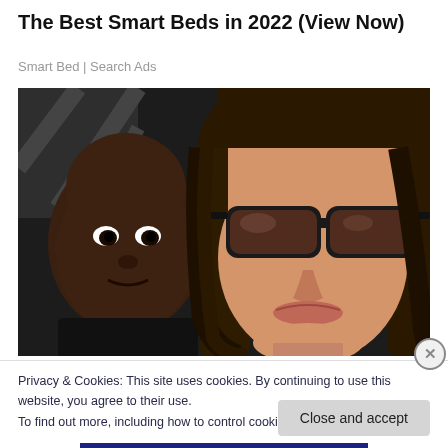The Best Smart Beds in 2022 (View Now)
Smart Bed | Search Ads
[Figure (photo): Close-up photo of a woman with sunglasses and long dark hair, with a young child behind her]
Privacy & Cookies: This site uses cookies. By continuing to use this website, you agree to their use.
To find out more, including how to control cookies, see here: Cookie Policy
Close and accept